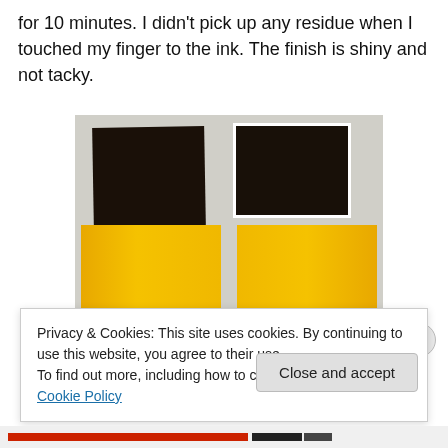for 10 minutes. I didn't pick up any residue when I touched my finger to the ink. The finish is shiny and not tacky.
[Figure (photo): Photo showing four ink swatches on a white/grey background: two black ink swatches on top (left one larger, right one with white border), two yellow ink swatches on the bottom side by side.]
Privacy & Cookies: This site uses cookies. By continuing to use this website, you agree to their use.
To find out more, including how to control cookies, see here: Cookie Policy
Close and accept